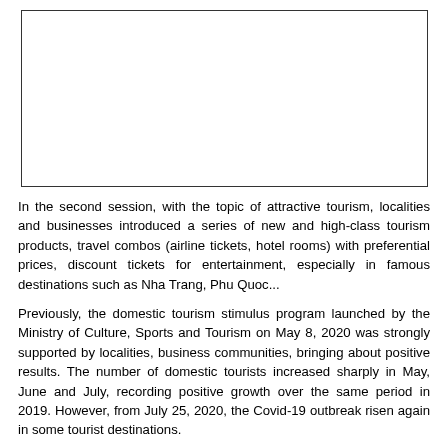[Figure (other): Empty bordered rectangular box placeholder for an image]
In the second session, with the topic of attractive tourism, localities and businesses introduced a series of new and high-class tourism products, travel combos (airline tickets, hotel rooms) with preferential prices, discount tickets for entertainment, especially in famous destinations such as Nha Trang, Phu Quoc...
Previously, the domestic tourism stimulus program launched by the Ministry of Culture, Sports and Tourism on May 8, 2020 was strongly supported by localities, business communities, bringing about positive results. The number of domestic tourists increased sharply in May, June and July, recording positive growth over the same period in 2019. However, from July 25, 2020, the Covid-19 outbreak risen again in some tourist destinations.
This stimulus conference hosted by the Vietnam National